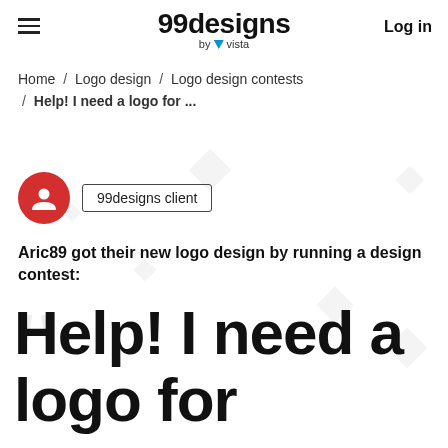99designs by vista  Log in
Home / Logo design / Logo design contests / Help! I need a logo for ...
[Figure (illustration): Red circular avatar icon representing a 99designs client, with a badge label reading '99designs client']
Aric89 got their new logo design by running a design contest:
Help! I need a logo for my horse/hay/agriculture company ”